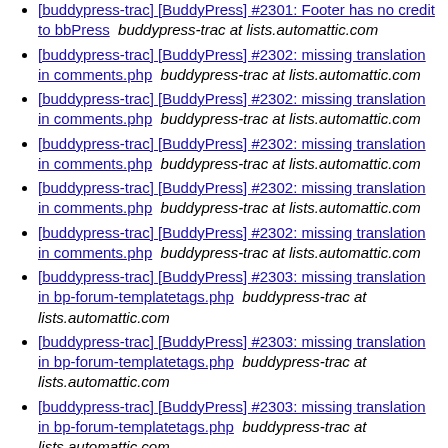[buddypress-trac] [BuddyPress] #2301: Footer has no credit to bbPress   buddypress-trac at lists.automattic.com
[buddypress-trac] [BuddyPress] #2302: missing translation in comments.php   buddypress-trac at lists.automattic.com
[buddypress-trac] [BuddyPress] #2302: missing translation in comments.php   buddypress-trac at lists.automattic.com
[buddypress-trac] [BuddyPress] #2302: missing translation in comments.php   buddypress-trac at lists.automattic.com
[buddypress-trac] [BuddyPress] #2302: missing translation in comments.php   buddypress-trac at lists.automattic.com
[buddypress-trac] [BuddyPress] #2302: missing translation in comments.php   buddypress-trac at lists.automattic.com
[buddypress-trac] [BuddyPress] #2303: missing translation in bp-forum-templatetags.php   buddypress-trac at lists.automattic.com
[buddypress-trac] [BuddyPress] #2303: missing translation in bp-forum-templatetags.php   buddypress-trac at lists.automattic.com
[buddypress-trac] [BuddyPress] #2303: missing translation in bp-forum-templatetags.php   buddypress-trac at lists.automattic.com
[buddypress-trac] [BuddyPress] #2304: 2 errors in bp-templatetags.php   buddypress-trac at lists.automattic.com
[buddypress-trac] [BuddyPress] #2304: 2 errors in bp-templatetags.php   buddypress-trac at lists.automattic.com